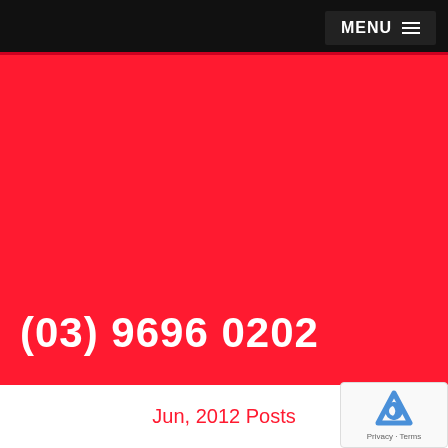MENU
(03) 9696 0202
Jun, 2012 Posts